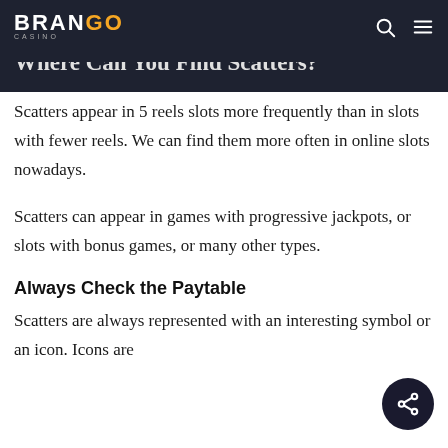BRANGO CASINO — navigation bar with search and menu icons
Where Can You Find Scatters? (partial, cut off)
Scatters appear in 5 reels slots more frequently than in slots with fewer reels. We can find them more often in online slots nowadays.
Scatters can appear in games with progressive jackpots, or slots with bonus games, or many other types.
Always Check the Paytable
Scatters are always represented with an interesting symbol or an icon. Icons are